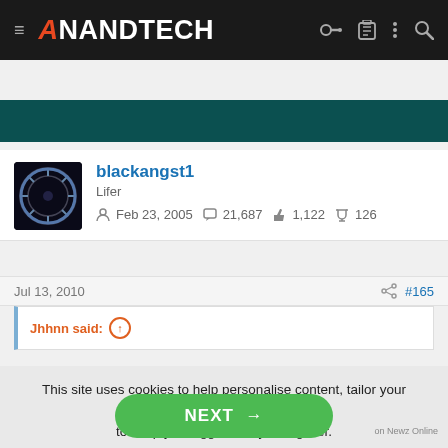AnandTech
[Figure (screenshot): AnandTech logo with navigation icons on dark header bar]
blackangst1
Lifer
Feb 23, 2005  21,687  1,122  126
Jul 13, 2010  #165
Jhhnn said:
This site uses cookies to help personalise content, tailor your experience and to keep you logged in if you register.
By continuing to use this site, you are consenting to our use of cookies.
NEXT →